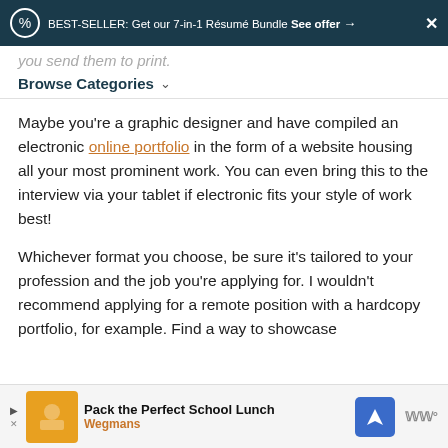BEST-SELLER: Get our 7-in-1 Résumé Bundle See offer →  ✕
you send them to print.
Browse Categories
Maybe you're a graphic designer and have compiled an electronic online portfolio in the form of a website housing all your most prominent work. You can even bring this to the interview via your tablet if electronic fits your style of work best!
Whichever format you choose, be sure it's tailored to your profession and the job you're applying for. I wouldn't recommend applying for a remote position with a hardcopy portfolio, for example. Find a way to showcase
[Figure (screenshot): Advertisement bar at the bottom: Pack the Perfect School Lunch - Wegmans]